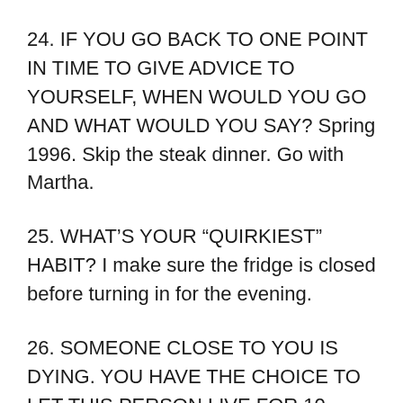24. IF YOU GO BACK TO ONE POINT IN TIME TO GIVE ADVICE TO YOURSELF, WHEN WOULD YOU GO AND WHAT WOULD YOU SAY? Spring 1996. Skip the steak dinner. Go with Martha.
25. WHAT'S YOUR “QUIRKIEST” HABIT? I make sure the fridge is closed before turning in for the evening.
26. SOMEONE CLOSE TO YOU IS DYING. YOU HAVE THE CHOICE TO LET THIS PERSON LIVE FOR 10 MORE YEARS, BUT IF YOU DO, YOU CAUSE THE